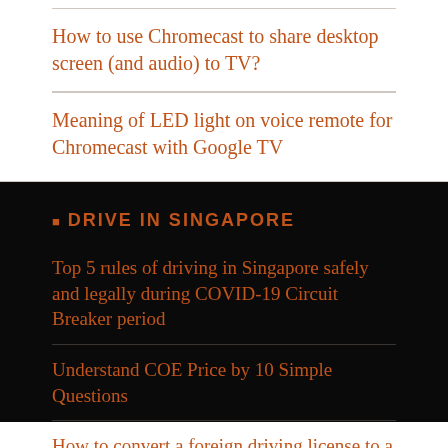How to use Chromecast to share desktop screen (and audio) to TV?
Meaning of LED light on voice remote for Chromecast with Google TV
DRIVE IN SINGAPORE
Top 5 rules of driving in Singapore safely and legally during COVID-19 Circuit Breaker period
Understand COE Price by 10 Simple Questions
How to convert a foreign driving license to a Singapore driving license?